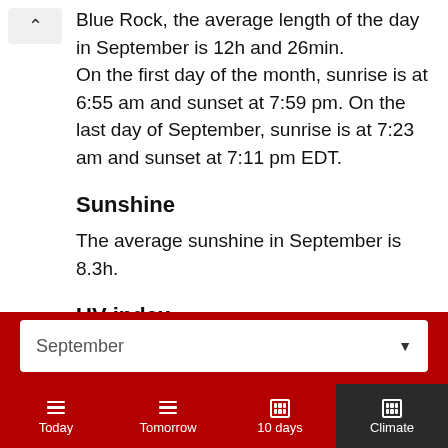Blue Rock, the average length of the day in September is 12h and 26min. On the first day of the month, sunrise is at 6:55 am and sunset at 7:59 pm. On the last day of September, sunrise is at 7:23 am and sunset at 7:11 pm EDT.
Sunshine
The average sunshine in September is 8.3h.
UV index